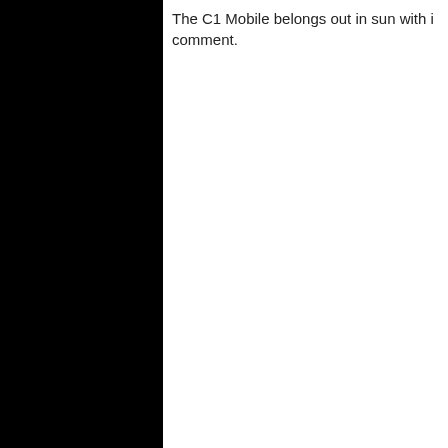[Figure (photo): Large black rectangular panel occupying the left portion of the page]
The C1 Mobile belongs out in sun with i comment.